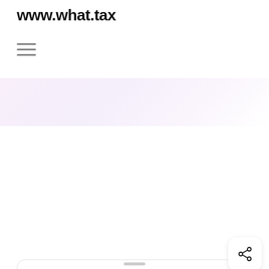www.what.tax
[Figure (other): Hamburger menu icon (three horizontal lines)]
| Field | Value |
| --- | --- |
| Salary | £14300 |
| Paid | Per Year |
| Tax year | 2021-2022 |